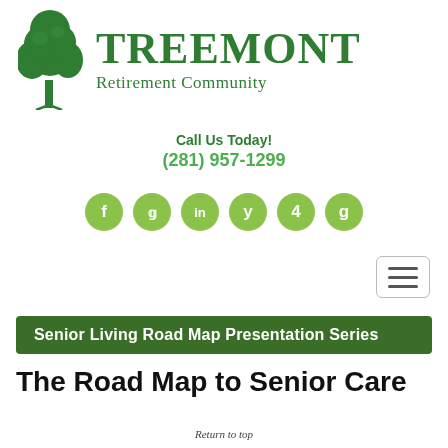[Figure (logo): Treemont Retirement Community logo with green tree illustration and serif text 'TREEMONT Retirement Community']
Call Us Today!
(281) 957-1299
[Figure (infographic): Row of six circular green social media icons: Facebook (f), Twitter (bird), LinkedIn (in), Yelp (y), 4 (unknown), Goodreads (g)]
[Figure (other): Hamburger menu button with three horizontal lines, rounded rectangle border]
Senior Living Road Map Presentation Series
The Road Map to Senior Care
Return to top